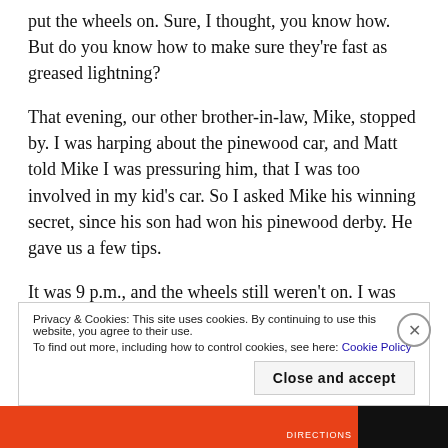put the wheels on. Sure, I thought, you know how. But do you know how to make sure they're fast as greased lightning?
That evening, our other brother-in-law, Mike, stopped by. I was harping about the pinewood car, and Matt told Mike I was pressuring him, that I was too involved in my kid's car. So I asked Mike his winning secret, since his son had won his pinewood derby. He gave us a few tips.
It was 9 p.m., and the wheels still weren't on. I was sitting at the kitchen table, using my laptop, while
Privacy & Cookies: This site uses cookies. By continuing to use this website, you agree to their use.
To find out more, including how to control cookies, see here: Cookie Policy
Close and accept